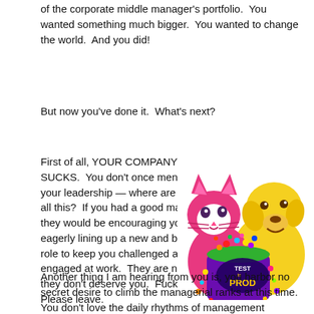of the corporate middle manager's portfolio.  You wanted something much bigger.  You wanted to change the world.  And you did!
But now you've done it.  What's next?
First of all, YOUR COMPANY SUCKS.  You don't once mention your leadership — where are they in all this?  If you had a good manager, they would be encouraging you and eagerly lining up a new and bigger role to keep you challenged and engaged at work.  They are not, so they don't deserve you.  Fuck em.  Please leave.
[Figure (illustration): Colorful cartoon illustration of a pink cat and yellow dog playing with a bucket of candy/toys labeled 'TEST in PROD']
Another thing I am hearing from you is, you harbor no secret desire to climb the managerial ranks at this time.  You don't love the daily rhythms of management (believe it or not...